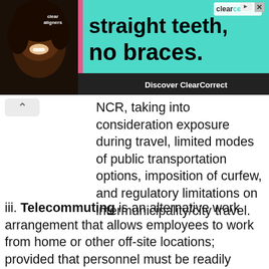[Figure (screenshot): Advertisement banner for ClearCorrect dental aligners with tagline 'straight teeth, no braces.' and a smiling woman with natural hair, teal background, pink accent bar, and 'Discover ClearCorrect' button on dark bar.]
NCR, taking into consideration exposure during travel, limited modes of public transportation options, imposition of curfew, and regulatory limitations on intermunicipality/city travel.
iii. Telecommuting is an alternative work arrangement that allows employees to work from home or other off-site locations; provided that personnel must be readily accessible during working hours and must be able to respond to directives, requests, and queries through agreed modes of